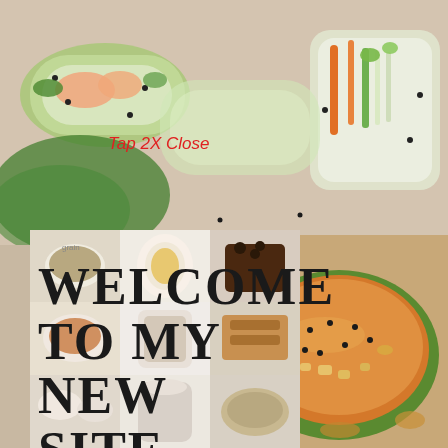[Figure (photo): Top portion: close-up food photograph of fresh spring rolls / summer rolls with vegetables, rice paper wrappers, shredded vegetables, carrots, greens, sesame seeds, on a light surface]
Tap 2X Close
[Figure (photo): Bottom left: collage of multiple food photos including grain bowls, eggs, chocolate lava cake, soups, creamy beverages, baked goods, various dishes]
[Figure (photo): Bottom right: overhead photo of a thick orange/tan soup or smoothie bowl in a green ceramic bowl, topped with black sesame seeds and croutons or nuts]
WELCOME TO MY NEW SITE